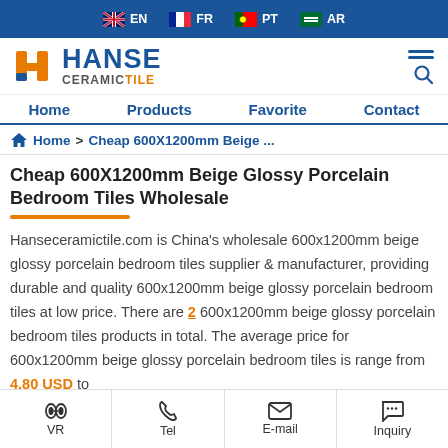EN  FR  PT  AR
[Figure (logo): Hanse Ceramic Tile logo with blue H icon and orange/gray text]
Home  Products  Favorite  Contact
Home > Cheap 600X1200mm Beige ...
Cheap 600X1200mm Beige Glossy Porcelain Bedroom Tiles Wholesale
Hanseceramictile.com is China's wholesale 600x1200mm beige glossy porcelain bedroom tiles supplier & manufacturer, providing durable and quality 600x1200mm beige glossy porcelain bedroom tiles at low price. There are 2 600x1200mm beige glossy porcelain bedroom tiles products in total. The average price for 600x1200mm beige glossy porcelain bedroom tiles is range from 4.80 USD to
VR  Tel  E-mail  Inquiry